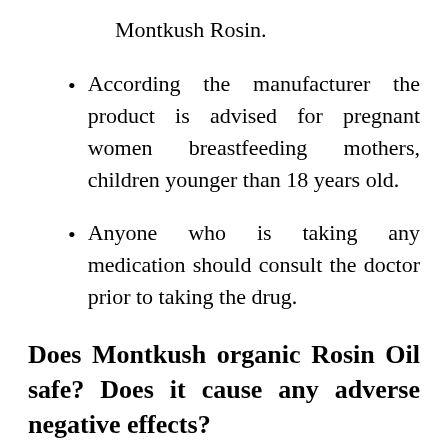Montkush Rosin.
According the manufacturer the product is advised for pregnant women breastfeeding mothers, children younger than 18 years old.
Anyone who is taking any medication should consult the doctor prior to taking the drug.
Does Montkush organic Rosin Oil safe? Does it cause any adverse negative effects?